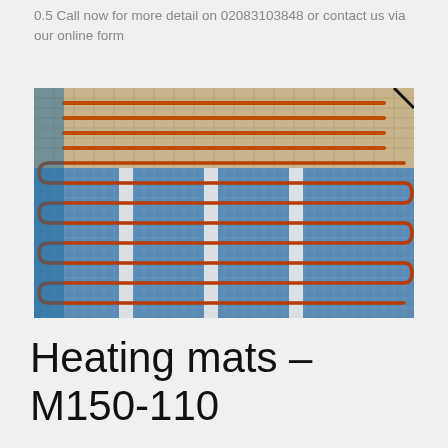0.5  Call now for more detail on 02083103848 or contact us via our online form
[Figure (photo): A heating mat being unrolled, showing orange resistive heating cable woven in a serpentine pattern on a blue fibreglass mesh grid, with the rolled portion visible at the top.]
Heating mats – M150-110